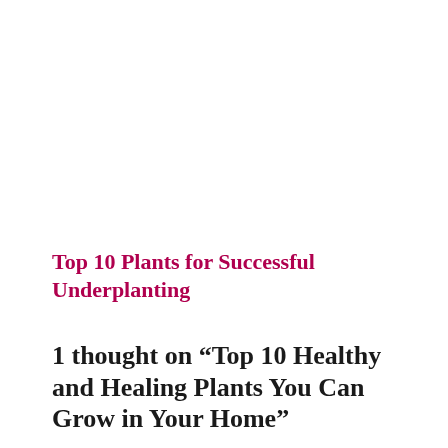Top 10 Plants for Successful Underplanting
1 thought on “Top 10 Healthy and Healing Plants You Can Grow in Your Home”